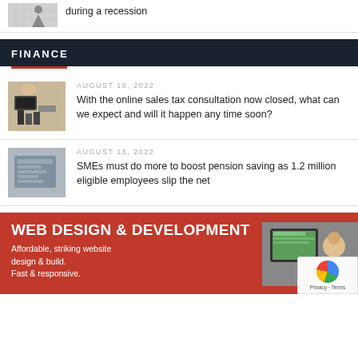[Figure (photo): Small thumbnail image related to recession article, showing a person with bar chart background]
during a recession
FINANCE
[Figure (photo): Thumbnail of calculator or tax-related items on a desk]
AUGUST 16, 2022
With the online sales tax consultation now closed, what can we expect and will it happen any time soon?
[Figure (photo): Thumbnail showing a sign or plaque related to pension/savings]
AUGUST 15, 2022
SMEs must do more to boost pension saving as 1.2 million eligible employees slip the net
[Figure (illustration): Red advertisement banner for Web Design & Development services with tablet image]